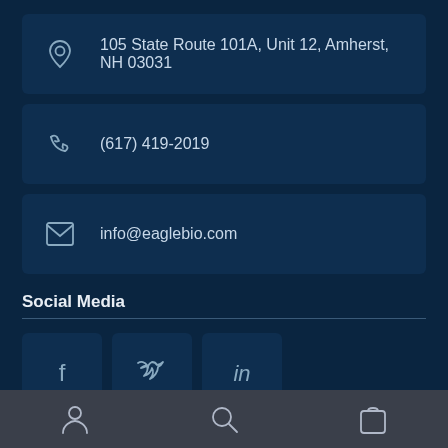105 State Route 101A, Unit 12, Amherst, NH 03031
(617) 419-2019
info@eaglebio.com
Social Media
[Figure (other): Social media icons: Facebook, Twitter, LinkedIn]
© EagleBio - 105 State Route 101A, Unit 12, Amherst, NH 03031.
[Figure (other): Bottom navigation bar with person, search, and shopping bag icons]